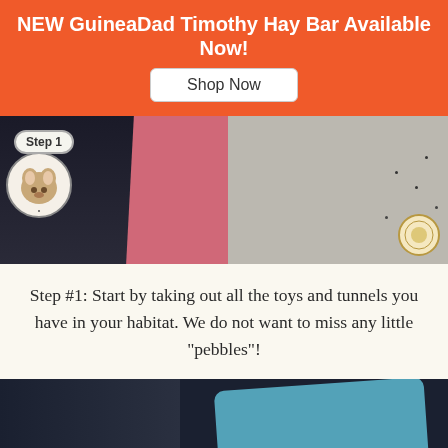NEW GuineaDad Timothy Hay Bar Available Now!
Shop Now
[Figure (photo): Step 1 photo showing a guinea pig habitat with pink cloth and grey mat, with a guinea pig mascot icon and Step 1 speech bubble overlay]
Step #1: Start by taking out all the toys and tunnels you have in your habitat. We do not want to miss any little "pebbles"!
[Figure (photo): Photo showing a person cleaning a guinea pig habitat, with a blue fleece liner being removed and small dark droppings visible on a light mat, with an orange gift button overlay]